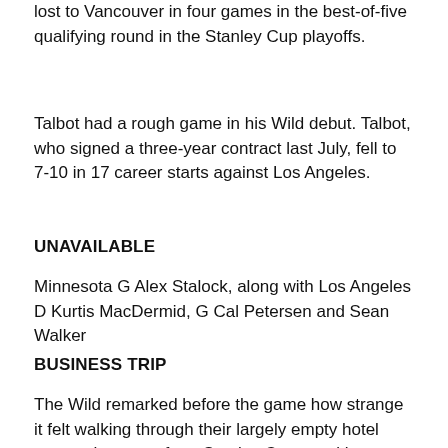lost to Vancouver in four games in the best-of-five qualifying round in the Stanley Cup playoffs.
Talbot had a rough game in his Wild debut. Talbot, who signed a three-year contract last July, fell to 7-10 in 17 career starts against Los Angeles.
UNAVAILABLE
Minnesota G Alex Stalock, along with Los Angeles D Kurtis MacDermid, G Cal Petersen and Sean Walker
BUSINESS TRIP
The Wild remarked before the game how strange it felt walking through their largely empty hotel across the street from Staples Center, with no activity at the adjacent